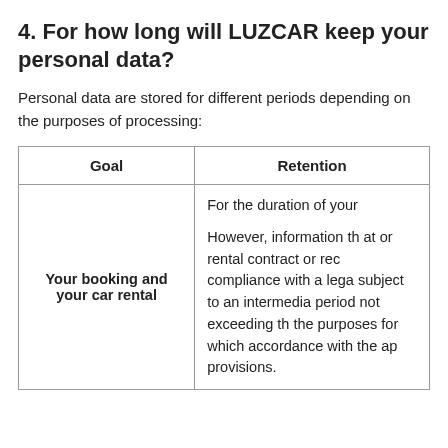4. For how long will LUZCAR keep your personal data?
Personal data are stored for different periods depending on the purposes of processing:
| Goal | Retention |
| --- | --- |
| Your booking and your car rental | For the duration of your...

However, information th... or rental contract or rec... compliance with a lega... subject to an intermedia... period not exceeding th... the purposes for which... accordance with the ap... provisions. |